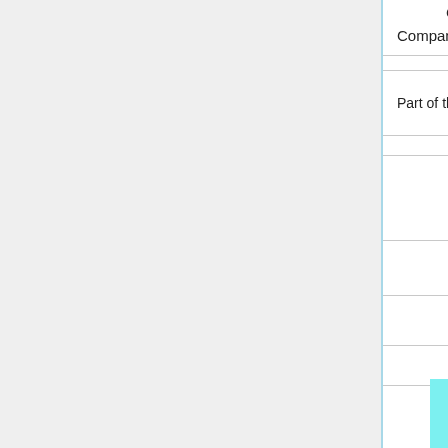Companies
| Part of the Prysmian Group |
|  |
|  |
|  |
|  |
Comment:
No. 4 AWG USE Copper
Single cable, not three ca